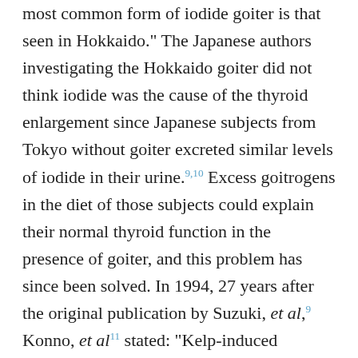…concerning iodide goiter, from clinical. The most common form of iodide goiter is that seen in Hokkaido." The Japanese authors investigating the Hokkaido goiter did not think iodide was the cause of the thyroid enlargement since Japanese subjects from Tokyo without goiter excreted similar levels of iodide in their urine.9,10 Excess goitrogens in the diet of those subjects could explain their normal thyroid function in the presence of goiter, and this problem has since been solved. In 1994, 27 years after the original publication by Suzuki, et al,9 Konno, et al11 stated: "Kelp-induced endemic goiter was reported to occur in the coastal regions of Hokkaido nearly 30 years ago. Such goiter has now disappeared." Please note that Konno, et al called it "kelp-induced goiter" whereas Wolff called it "iodide-